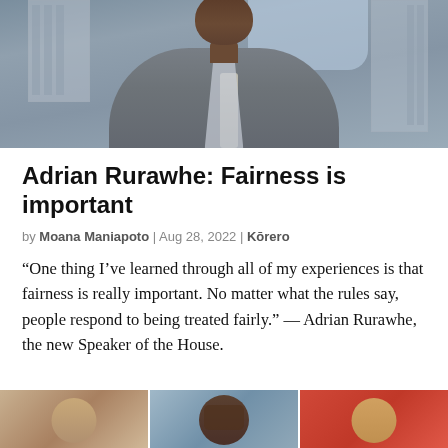[Figure (photo): A man in a grey suit and striped tie standing in front of a government building, photographed from the chest up.]
Adrian Rurawhe: Fairness is important
by Moana Maniapoto | Aug 28, 2022 | Kōrero
“One thing I’ve learned through all of my experiences is that fairness is really important. No matter what the rules say, people respond to being treated fairly.” — Adrian Rurawhe, the new Speaker of the House.
[Figure (photo): Three thumbnail images at the bottom of the page showing partial portraits of people.]